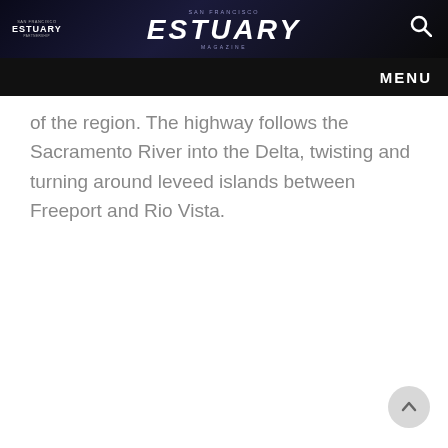SAN FRANCISCO ESTUARY MAGAZINE
of the region. The highway follows the Sacramento River into the Delta, twisting and turning around leveed islands between Freeport and Rio Vista.